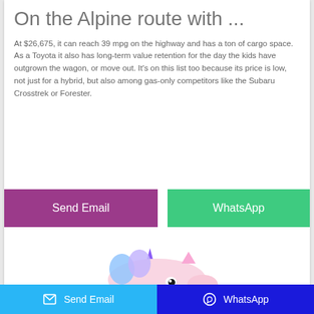On the Alpine route with ...
At $26,675, it can reach 39 mpg on the highway and has a ton of cargo space. As a Toyota it also has long-term value retention for the day the kids have outgrown the wagon, or move out. It's on this list too because its price is low, not just for a hybrid, but also among gas-only competitors like the Subaru Crosstrek or Forester.
[Figure (illustration): Two rectangular buttons side by side: a purple 'Send Email' button on the left and a green 'WhatsApp' button on the right]
[Figure (illustration): Partial view of a unicorn plush toy with purple horn, pastel colors, visible from top]
Send Email   WhatsApp